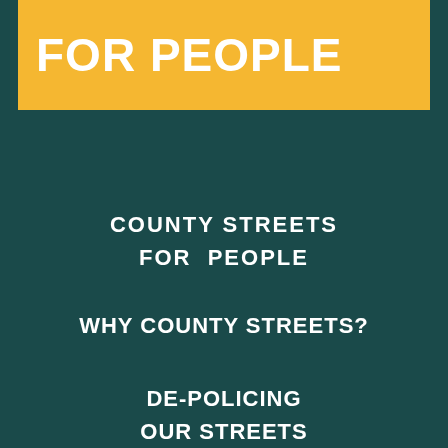FOR PEOPLE
COUNTY STREETS FOR PEOPLE
WHY COUNTY STREETS?
DE-POLICING OUR STREETS